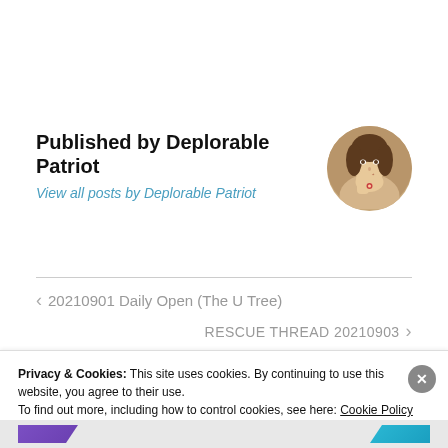Published by Deplorable Patriot
View all posts by Deplorable Patriot
[Figure (illustration): Circular avatar portrait of a young woman resting her chin on her hand, classical painting style, brown tones]
< 20210901 Daily Open (The U Tree)
RESCUE THREAD 20210903 >
Privacy & Cookies: This site uses cookies. By continuing to use this website, you agree to their use.
To find out more, including how to control cookies, see here: Cookie Policy
Close and accept